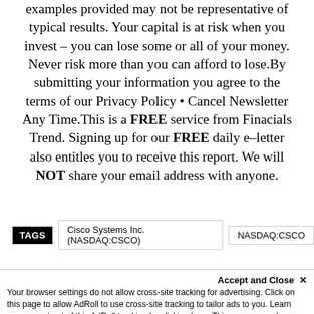examples provided may not be representative of typical results. Your capital is at risk when you invest – you can lose some or all of your money. Never risk more than you can afford to lose.By submitting your information you agree to the terms of our Privacy Policy • Cancel Newsletter Any Time.This is a FREE service from Finacials Trend. Signing up for our FREE daily e–letter also entitles you to receive this report. We will NOT share your email address with anyone.
TAGS   Cisco Systems Inc. (NASDAQ:CSCO)   NASDAQ:CSCO
Accept and Close ✕
Your browser settings do not allow cross-site tracking for advertising. Click on this page to allow AdRoll to use cross-site tracking to tailor ads to you. Learn more or opt out of this AdRoll tracking by clicking here. This message only appears once.